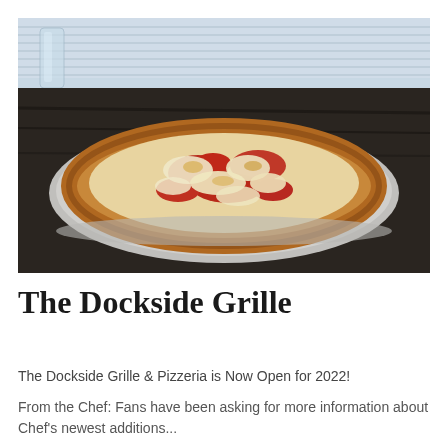[Figure (photo): Close-up photo of a pizza with melted cheese and tomato sauce on a round metal plate, placed on a dark wooden table with a glass visible in the background]
The Dockside Grille
The Dockside Grille & Pizzeria is Now Open for 2022!
From the Chef: Fans have been asking for more information about Chef's newest additions...